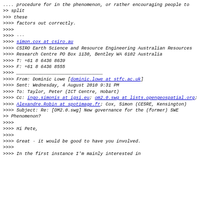.... procedure for in the phenomenon, or rather encouraging people to
>> split
>>> these
>>>> factors out correctly.
>>>>
>>>> ---
>>>> simon.cox at csiro.au
>>>> CSIRO Earth Science and Resource Engineering Australian Resources
>>>> Research Centre PO Box 1130, Bentley WA 6102 Australia
>>>> T: +61 8 6436 8639
>>>> F: +61 8 6436 8555
>>>> ________________________________
>>>> From: Dominic Lowe [dominic.lowe at stfc.ac.uk]
>>>> Sent: Wednesday, 4 August 2010 9:31 PM
>>>> To: Taylor, Peter (ICT Centre, Hobart)
>>>> Cc: ingo.simonis at igsi.eu; om2.0.swg at lists.opengeospatial.org;
>>>> Alexandre.Robin at spotimage.fr; Cox, Simon (CESRE, Kensington)
>>>> Subject: Re: [OM2.0.swg] New governance for the (former) SWE
>> Phenomenon?
>>>>
>>>> Hi Pete,
>>>>
>>>> Great - it would be good to have you involved.
>>>>
>>>> In the first instance I'm mainly interested in